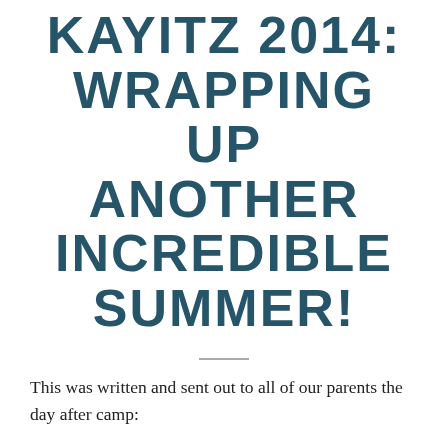KAYITZ 2014: WRAPPING UP ANOTHER INCREDIBLE SUMMER!
This was written and sent out to all of our parents the day after camp:
Yesterday morning we said goodbye to the last of our 2014 chalutzim campers]. Our staff members spent the afternoon winterizing our tents